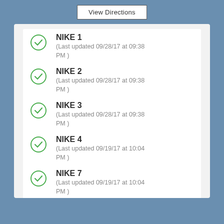View Directions
NIKE 1
(Last updated 09/28/17 at 09:38 PM )
NIKE 2
(Last updated 09/28/17 at 09:38 PM )
NIKE 3
(Last updated 09/28/17 at 09:38 PM )
NIKE 4
(Last updated 09/19/17 at 10:04 PM )
NIKE 7
(Last updated 09/19/17 at 10:04 PM )